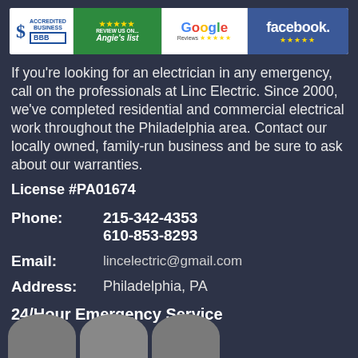[Figure (logo): Four review/accreditation badges: BBB Accredited Business, Angie's List 5-star review, Google Reviews 5-star, Facebook 5-star]
If you're looking for an electrician in any emergency, call on the professionals at Linc Electric. Since 2000, we've completed residential and commercial electrical work throughout the Philadelphia area. Contact our locally owned, family-run business and be sure to ask about our warranties.
License #PA01674
Phone: 215-342-4353
610-853-8293
Email: lincelectric@gmail.com
Address: Philadelphia, PA
24/Hour Emergency Service